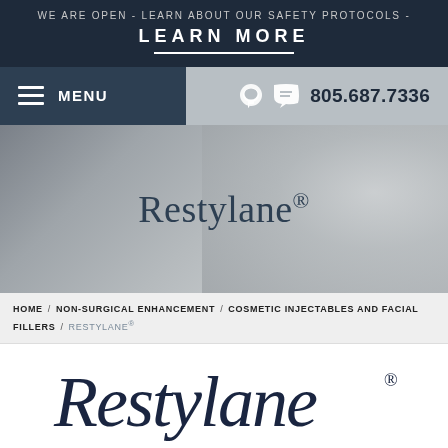WE ARE OPEN - LEARN ABOUT OUR SAFETY PROTOCOLS -
LEARN MORE
MENU  805.687.7336
[Figure (photo): Grayscale hero image of a person's face in profile, with the text 'Restylane®' overlaid in large serif font]
HOME / NON-SURGICAL ENHANCEMENT / COSMETIC INJECTABLES AND FACIAL FILLERS / RESTYLANE®
[Figure (logo): Restylane brand logo in dark navy cursive/script font with registered trademark symbol]